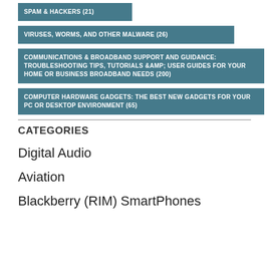SPAM & HACKERS (21)
VIRUSES, WORMS, AND OTHER MALWARE (26)
COMMUNICATIONS & BROADBAND SUPPORT AND GUIDANCE: TROUBLESHOOTING TIPS, TUTORIALS &AMP; USER GUIDES FOR YOUR HOME OR BUSINESS BROADBAND NEEDS (200)
COMPUTER HARDWARE GADGETS: THE BEST NEW GADGETS FOR YOUR PC OR DESKTOP ENVIRONMENT (65)
CATEGORIES
Digital Audio
Aviation
Blackberry (RIM) SmartPhones